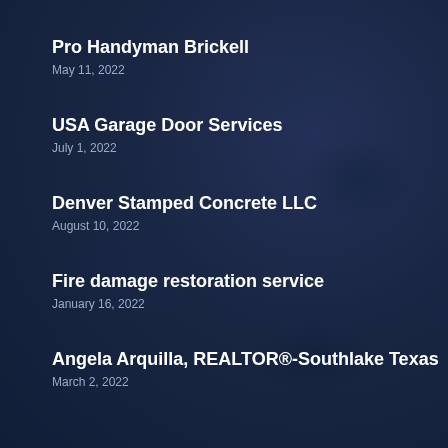Pro Handyman Brickell
May 11, 2022
USA Garage Door Services
July 1, 2022
Denver Stamped Concrete LLC
August 10, 2022
Fire damage restoration service
January 16, 2022
Angela Arquilla, REALTOR®-Southlake Texas
March 2, 2022